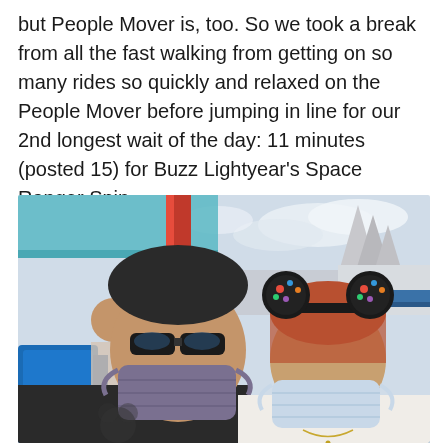but People Mover is, too. So we took a break from all the fast walking from getting on so many rides so quickly and relaxed on the People Mover before jumping in line for our 2nd longest wait of the day: 11 minutes (posted 15) for Buzz Lightyear's Space Ranger Spin.
[Figure (photo): A couple wearing face masks sitting on the People Mover ride at Disney's Magic Kingdom. The man has sunglasses and a dark t-shirt; the woman wears Minnie Mouse ears and a white tank top. Blue ride seats are visible, with Space Mountain and park structures in the background under a partly cloudy sky.]